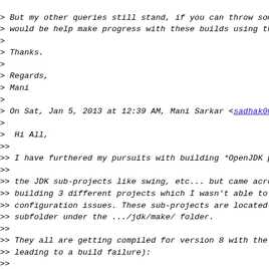> But my other queries still stand, if you can throw some light it would be help make progress with these builds using the
>
> Thanks.
>
> Regards,
> Mani
>
> On Sat, Jan 5, 2013 at 12:39 AM, Mani Sarkar <sadhak001...
>
>  Hi All,
>>
>> I have furthered my pursuits with building *OpenJDK p...
>>
>> the JDK sub-projects like swing, etc... but came across building 3 different projects which I wasn't able to b... configuration issues. These sub-projects are located ... subfolder under the .../jdk/make/ folder.
>>
>> They all are getting compiled for version 8 with the b... leading to a build failure):
>>
>>       -source 8 -target 8
>>
>> *jdk/awt2d*
>>
>> https://github.com/**neomatrix369/BuildHelpers/**blob... EclipseProjectsForOpenJDK/**Logs/jdk/awt2d/awt2dAntBu...
>>
>> *jdk/j2se*
>>